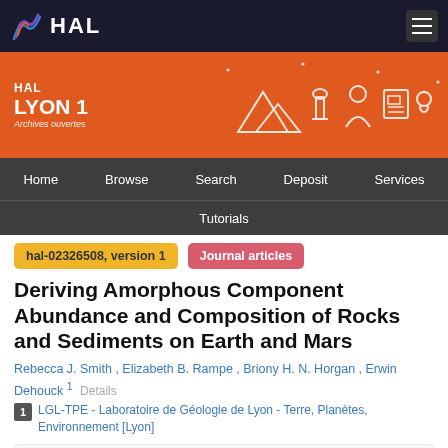[Figure (logo): HAL open archive logo with colored wave icon and white HAL text on dark background]
[Figure (illustration): HAL Lyon 1 Archives ouvertes orange banner with white icons: mountains, microscope, person, newspaper, lightbulb, laptop]
Home  Browse  Search  Deposit  Services  Tutorials
hal-02326508, version 1
Journal articles
Deriving Amorphous Component Abundance and Composition of Rocks and Sediments on Earth and Mars
Rebecca J. Smith , Elizabeth B. Rampe , Briony H. N. Horgan , Erwin Dehouck 1   Details
1  LGL-TPE - Laboratoire de Géologie de Lyon - Terre, Planètes, Environnement [Lyon]
Abstract : Plain Language Summary X-ray amorphous materials have